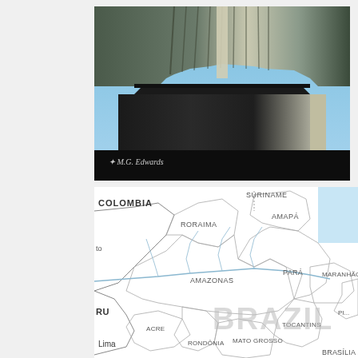[Figure (photo): Close-up photograph of the base and lower torso of Christ the Redeemer statue in Rio de Janeiro, shot from below against a blue sky. The statue's dark stone pedestal and lower robe are visible. A watermark reads 'M.G. Edwards' in the lower left corner.]
[Figure (map): Partial map of northern Brazil and surrounding regions showing state boundaries and labels including: COLOMBIA, SURINAME, RORAIMA, AMAPÁ, to (Peru), AMAZONAS, PARÁ, MARANHÃO, ACRE, RONDÔNIA, MATO GROSSO, TOCANTINS, RU (Peru), Lima, BRAZIL (large watermark text), and Brasília partially visible. Rivers are shown in light blue.]